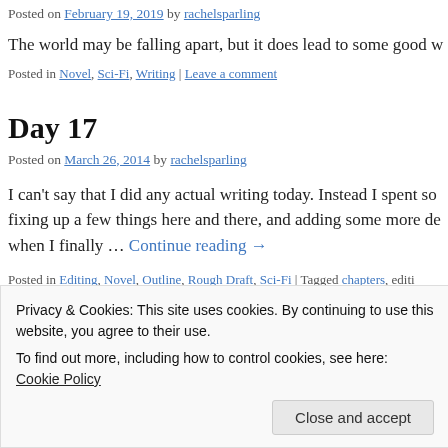Posted on February 19, 2019 by rachelsparling
The world may be falling apart, but it does lead to some good w…
Posted in Novel, Sci-Fi, Writing | Leave a comment
Day 17
Posted on March 26, 2014 by rachelsparling
I can't say that I did any actual writing today. Instead I spent so… fixing up a few things here and there, and adding some more de… when I finally … Continue reading →
Posted in Editing, Novel, Outline, Rough Draft, Sci-Fi | Tagged chapters, editi…
Privacy & Cookies: This site uses cookies. By continuing to use this website, you agree to their use.
To find out more, including how to control cookies, see here: Cookie Policy